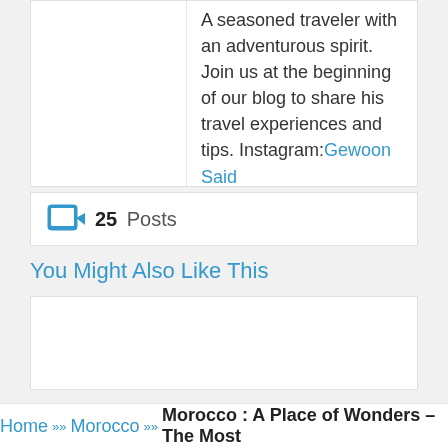A seasoned traveler with an adventurous spirit. Join us at the beginning of our blog to share his travel experiences and tips. Instagram: Gewoon Said
25 Posts
You Might Also Like This
[Figure (other): Empty white content placeholder box]
Home »» Morocco »» Morocco : A Place of Wonders – The Most